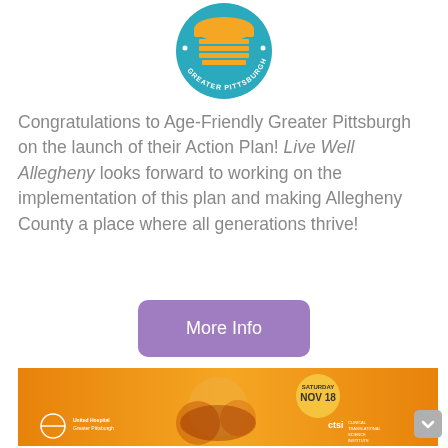[Figure (logo): Age-Friendly Greater Pittsburgh circular logo with teal and orange colors, featuring a building/pavilion icon]
Congratulations to Age-Friendly Greater Pittsburgh on the launch of their Action Plan! Live Well Allegheny looks forward to working on the implementation of this plan and making Allegheny County a place where all generations thrive!
[Figure (other): Purple rounded button labeled 'More Info']
[Figure (photo): Orange promotional banner image showing food and event details: SATURDAY NOV 18, with logos for a Greater Pittsburgh organization and CTSI (Clinical Translational Science Institute)]